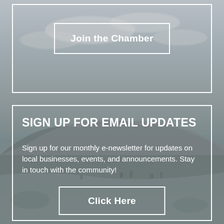[Figure (photo): Grayscale landscape photograph with cloudy sky in the upper portion and a rural valley town with mountains in the lower portion, serving as background for two overlaid content cards.]
Join the Chamber
SIGN UP FOR EMAIL UPDATES
Sign up for our monthly e-newsletter for updates on local businesses, events, and announcements. Stay in touch with the community!
Click Here